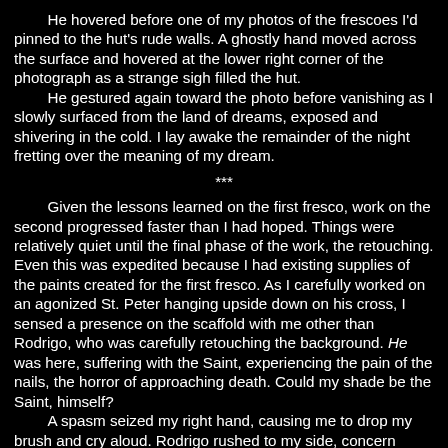He hovered before one of my photos of the frescoes I'd pinned to the hut's rude walls. A ghostly hand moved across the surface and hovered at the lower right corner of the photograph as a strange sigh filled the hut. He gestured again toward the photo before vanishing as I slowly surfaced from the land of dreams, exposed and shivering in the cold. I lay awake the remainder of the night fretting over the meaning of my dream.
***
Given the lessons learned on the first fresco, work on the second progressed faster than I had hoped. Things were relatively quiet until the final phase of the work, the retouching. Even this was expedited because I had existing supplies of the paints created for the first fresco. As I carefully worked on an agonized St. Peter hanging upside down on his cross, I sensed a presence on the scaffold with me other than Rodrigo, who was carefully retouching the background. He was here, suffering with the Saint, experiencing the pain of the nails, the horror of approaching death. Could my shade be the Saint, himself?
A spasm seized my right hand, causing me to drop my brush and cry aloud. Rodrigo rushed to my side, concern